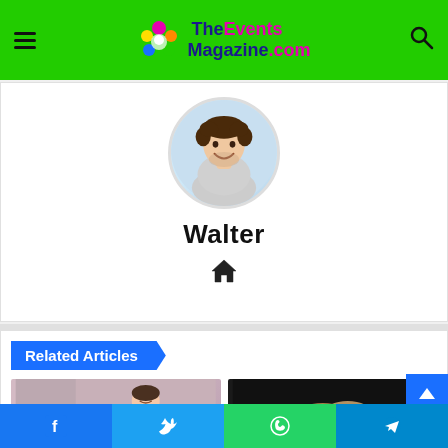TheEventsMagazine.com
Walter
[Figure (photo): Circular profile photo of a smiling man with curly dark hair and beard, wearing a light gray shirt]
Home icon (house symbol)
Related Articles
[Figure (photo): Thumbnail image showing a woman with closed eyes, appearing distressed or tired]
[Figure (photo): Thumbnail image showing two people's hands clasped together against a dark background]
Facebook | Twitter | WhatsApp | Telegram social share buttons